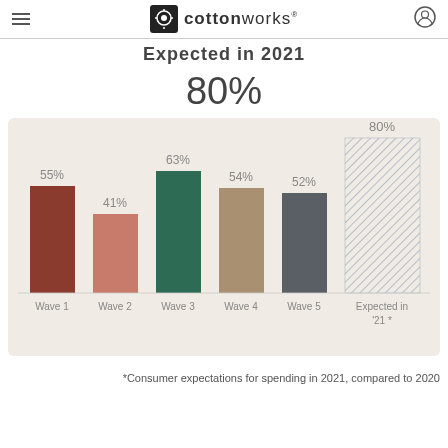cottonworks
Expected in 2021
80%
[Figure (bar-chart): Expected in 2021]
*Consumer expectations for spending in 2021, compared to 2020